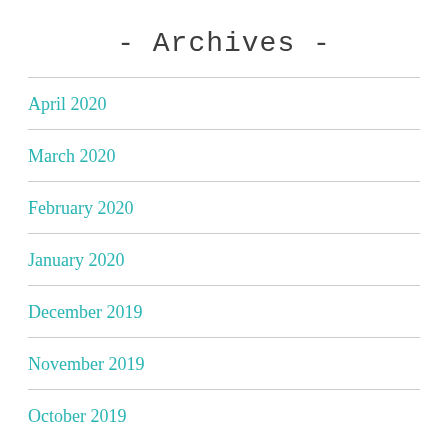- Archives -
April 2020
March 2020
February 2020
January 2020
December 2019
November 2019
October 2019